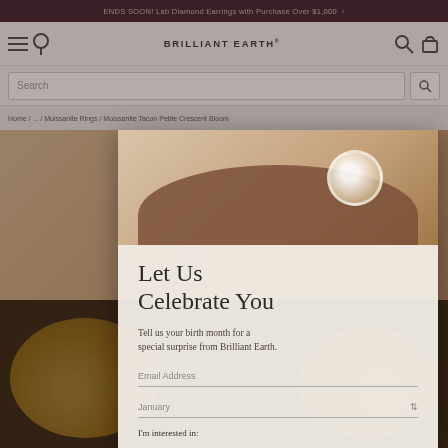ENDS SOON! Lab Diamond Earrings with Purchase Over $1,000 >
[Figure (logo): Brilliant Earth logo with navigation icons (hamburger menu, location pin, search, cart)]
Search
Home / ... / Moissanite Rings / Moissanite Tacon Petite Crescent Bloom
[Figure (photo): Jewelry product page background showing a ring on a hand and decorative jewelry pieces, dimmed by modal overlay]
Let Us Celebrate You
Tell us your birth month for a special surprise from Brilliant Earth.
Email Address
January
I'm interested in: